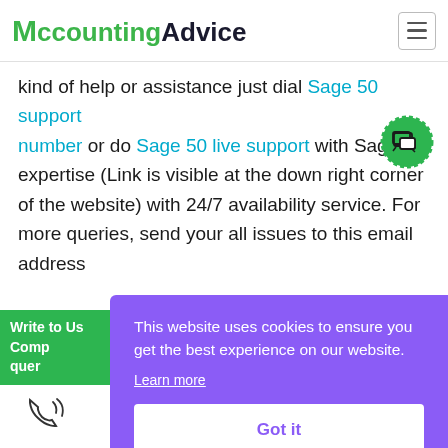AccountingAdvice
When installing Sage 50 but still you need some kind of help or assistance just dial Sage 50 support number or do Sage 50 live support with Sage expertise (Link is visible at the down right corner of the website) with 24/7 availability service. For more queries, send your all issues to this email address
Write to Us Complain queries
[Figure (other): Cookie consent overlay with purple background. Text: 'This website uses cookies to ensure you get the best experience on our website. Learn more' and a white 'Got it' button.]
[Figure (other): Green letter G partial visible at bottom left]
[Figure (other): Phone/call icon at bottom left]
[Figure (other): Chat bubble icon in green dashed circle at top right]